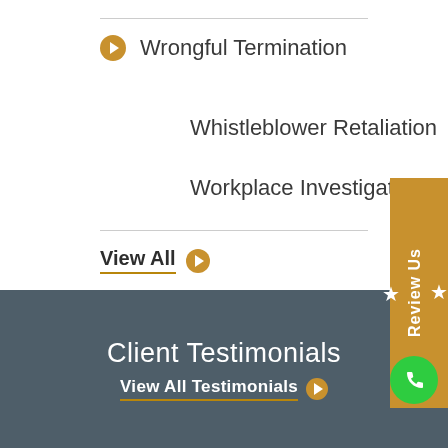Wrongful Termination
Whistleblower Retaliation
Workplace Investigations
View All
[Figure (other): Golden/orange vertical sidebar tab with star icons and 'Review Us' text rotated vertically]
Client Testimonials
View All Testimonials